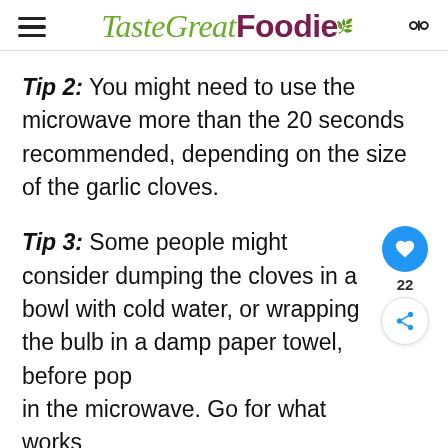TasteGreat Foodie
Tip 2: You might need to use the microwave more than the 20 seconds recommended, depending on the size of the garlic cloves.
Tip 3: Some people might consider dumping the cloves in a bowl with cold water, or wrapping the bulb in a damp paper towel, before popping in the microwave. Go for what works